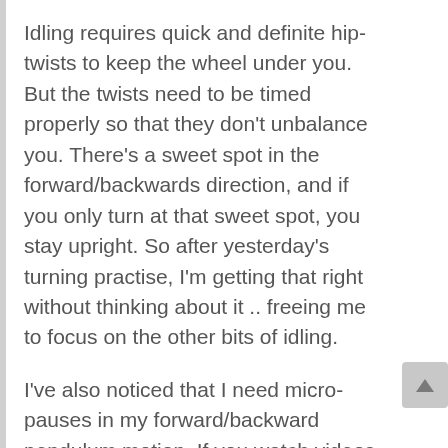Idling requires quick and definite hip-twists to keep the wheel under you. But the twists need to be timed properly so that they don't unbalance you. There's a sweet spot in the forward/backwards direction, and if you only turn at that sweet spot, you stay upright. So after yesterday's turning practise, I'm getting that right without thinking about it .. freeing me to focus on the other bits of idling.
I've also noticed that I need micro-pauses in my forward/backward pendulum motion. If you watch videos of people idling, it looks like they going forward/back very regularly. But the regularity is a bit misleading. The aim isn't to go back and forward regularly per se. But you do need to keep the wheel moving in order to keep it below your centre of gravity, and allow you to migrate side-to-side. You're limited to about a half-turn of the pedals forward/backwards, and if you find that's not enough then pausing momentarily before you redirect to correct your balance...